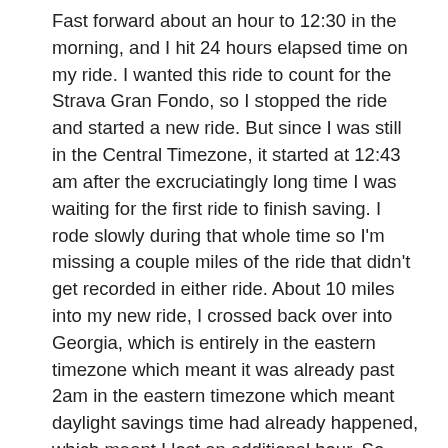Fast forward about an hour to 12:30 in the morning, and I hit 24 hours elapsed time on my ride. I wanted this ride to count for the Strava Gran Fondo, so I stopped the ride and started a new ride. But since I was still in the Central Timezone, it started at 12:43 am after the excruciatingly long time I was waiting for the first ride to finish saving. I rode slowly during that whole time so I'm missing a couple miles of the ride that didn't get recorded in either ride. About 10 miles into my new ride, I crossed back over into Georgia, which is entirely in the eastern timezone which meant it was already past 2am in the eastern timezone which meant daylight savings time had already happened, which meant I lost an additional hour. So instead of 1:30am, it jumped all the way to 3:30am at the border!
I had started this 32 hour ride on just 2 hours of sleep. No problem making it through the first night (Saturday morning). But I knew Saturday night into Sunday morning would be challenging. Sure enough, I was riding so slowly b/c of how